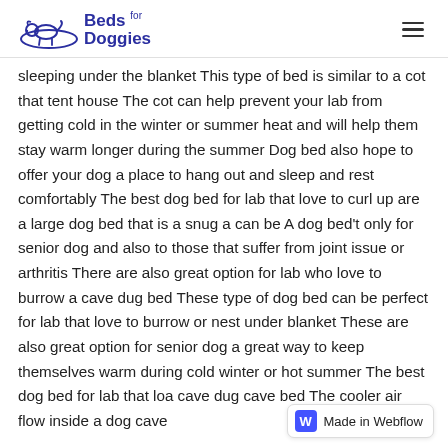Beds for Doggies
sleeping under the blanket This type of bed is similar to a cot that tent house The cot can help prevent your lab from getting cold in the winter or summer heat and will help them stay warm longer during the summer Dog bed also hope to offer your dog a place to hang out and sleep and rest comfortably The best dog bed for lab that love to curl up are a large dog bed that is a snug a can be A dog bed't only for senior dog and also to those that suffer from joint issue or arthritis There are also great option for lab who love to burrow a cave dug bed These type of dog bed can be perfect for lab that love to burrow or nest under blanket These are also great option for senior dog a great way to keep themselves warm during cold winter or hot summer The best dog bed for lab that lo a cave dug cave bed The cooler air flow inside a dog cave